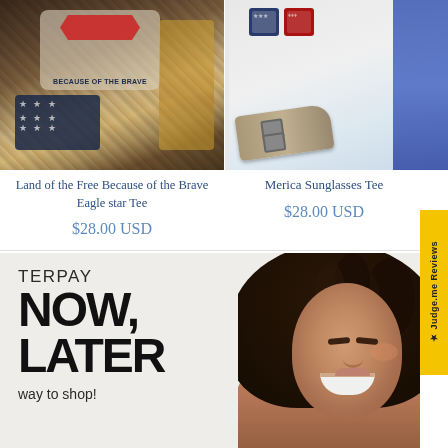[Figure (photo): Product photo of Land of the Free Because of the Brave Eagle star Tee, showing a bleached tie-dye style shirt with patriotic eagle graphic, paired with leopard print and star-patterned accessories, denim shorts]
[Figure (photo): Product photo of Merica Sunglasses Tee, showing a white tee with patriotic heart/sunglasses graphic, blue denim, and silver sandals]
Land of the Free Because of the Brave Eagle star Tee
$28.00 USD
Merica Sunglasses Tee
$28.00 USD
[Figure (photo): Afterpay promotional banner showing a smiling woman with curly hair, advertising 'Buy Now, Pay Later' with text reading 'TERPAY', 'NOW,', 'ATER', 'way to shop!']
★ Judge.me Reviews